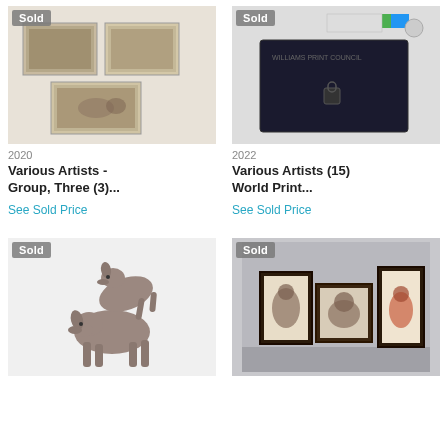[Figure (photo): Auction lot image showing three framed prints/etchings with a 'Sold' badge overlay]
2020
Various Artists - Group, Three (3)...
See Sold Price
[Figure (photo): Auction lot image showing a dark catalog/portfolio binder with color swatches and a 'Sold' badge overlay]
2022
Various Artists (15) World Print...
See Sold Price
[Figure (photo): Auction lot image showing two stacked Weimaraner dog figurines/sculpture with a 'Sold' badge overlay]
[Figure (photo): Auction lot image showing three framed rodeo/Western artworks on a gray background with a 'Sold' badge overlay]